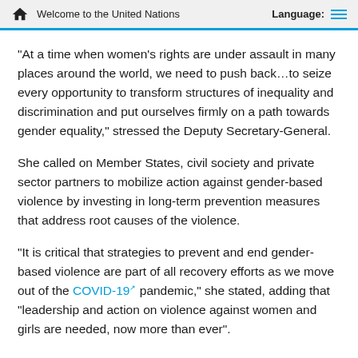Welcome to the United Nations   Language:
“At a time when women’s rights are under assault in many places around the world, we need to push back…to seize every opportunity to transform structures of inequality and discrimination and put ourselves firmly on a path towards gender equality,” stressed the Deputy Secretary-General.
She called on Member States, civil society and private sector partners to mobilize action against gender-based violence by investing in long-term prevention measures that address root causes of the violence.
“It is critical that strategies to prevent and end gender-based violence are part of all recovery efforts as we move out of the COVID-19 pandemic,” she stated, adding that “leadership and action on violence against women and girls are needed, now more than ever”.